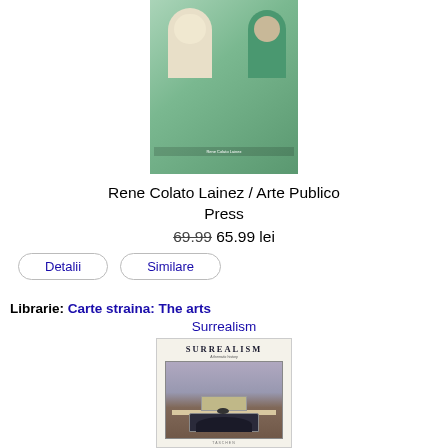[Figure (photo): Book cover illustration with figures in colorful scene]
Rene Colato Lainez / Arte Publico Press
69.99 65.99 lei
Detalii   Similare
Librarie: Carte straina: The arts Surrealism
[Figure (photo): Book cover for Surrealism by Cathrin Klingsohr-Leroy, Taschen. Cover shows a Magritte-style painting of a fireplace with a bird.]
Cathrin Klingsohr-Leroy / Taschen
75.99 lei